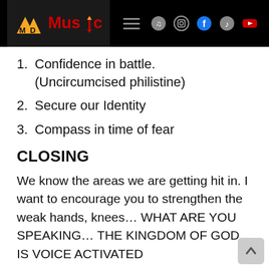MD Music — navigation header with logo, hamburger menu, and social icons (Spotify, Instagram, Facebook, TikTok, YouTube)
1. Confidence in battle. (Uncircumcised philistine)
2. Secure our Identity
3. Compass in time of fear
CLOSING
We know the areas we are getting hit in. I want to encourage you to strengthen the weak hands, knees… WHAT ARE YOU SPEAKING… THE KINGDOM OF GOD IS VOICE ACTIVATED